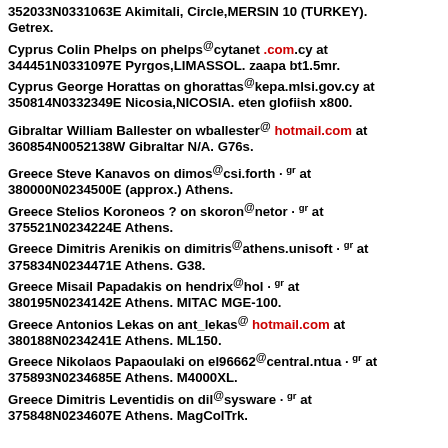352033N0331063E Akimitali, Circle,MERSIN 10 (TURKEY). Getrex.
Cyprus Colin Phelps on phelps@cytanet.com.cy at 344451N0331097E Pyrgos,LIMASSOL. zaapa bt1.5mr.
Cyprus George Horattas on ghorattas@kepa.mlsi.gov.cy at 350814N0332349E Nicosia,NICOSIA. eten glofiish x800.
Gibraltar William Ballester on wballester@hotmail.com at 360854N0052138W Gibraltar N/A. G76s.
Greece Steve Kanavos on dimos@csi.forth.gr at 380000N0234500E (approx.) Athens.
Greece Stelios Koroneos ? on skoron@netor.gr at 375521N0234224E Athens.
Greece Dimitris Arenikis on dimitris@athens.unisoft.gr at 375834N0234471E Athens. G38.
Greece Misail Papadakis on hendrix@hol.gr at 380195N0234142E Athens. MITAC MGE-100.
Greece Antonios Lekas on ant_lekas@hotmail.com at 380188N0234241E Athens. ML150.
Greece Nikolaos Papaoulaki on el96662@central.ntua.gr at 375893N0234685E Athens. M4000XL.
Greece Dimitris Leventidis on dil@sysware.gr at 375848N0234607E Athens. MagColTrk.